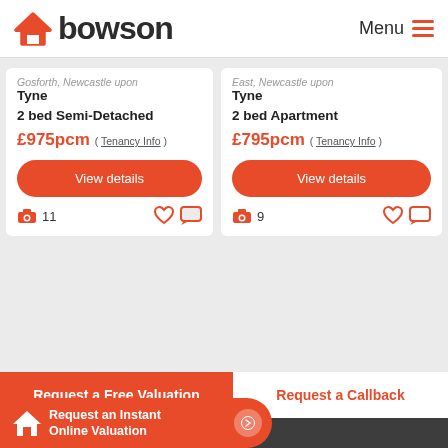bowson | Menu
Gosforth, Newcastle upon Tyne
2 bed Semi-Detached
£975pcm ( Tenancy Info )
East, Newcastle upon Tyne
2 bed Apartment
£795pcm ( Tenancy Info )
Request a Free Valuation
Request a Callback
Request an Instant Online Valuation
ell/rent your property?